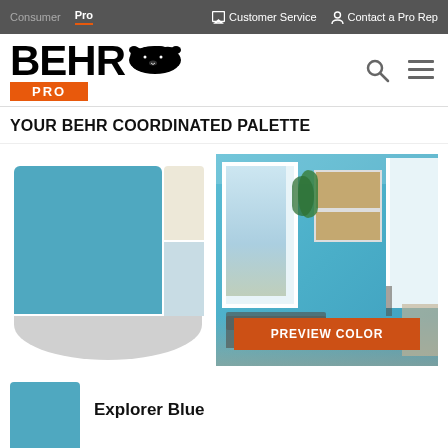Consumer  Pro  |  Customer Service  Contact a Pro Rep
[Figure (logo): BEHR PRO logo with bear icon]
YOUR BEHR COORDINATED PALETTE
[Figure (infographic): Coordinated color palette swatches: large teal/blue swatch, cream swatch, light blue swatch, gray swatch in a fan/chip arrangement]
[Figure (photo): Interior room scene with teal walls, white windows, art on wall, sofa and chairs, with orange PREVIEW COLOR button overlay]
PREVIEW COLOR
[Figure (illustration): Explorer Blue paint color chip swatch (teal)]
Explorer Blue